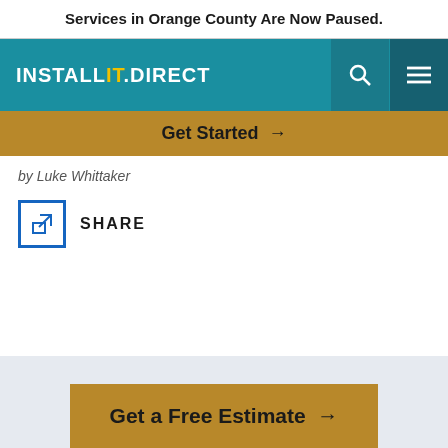Services in Orange County Are Now Paused.
[Figure (logo): INSTALL IT DIRECT logo in white text on teal background with search and hamburger menu icons]
Get Started →
by Luke Whittaker
SHARE
Get a Free Estimate →